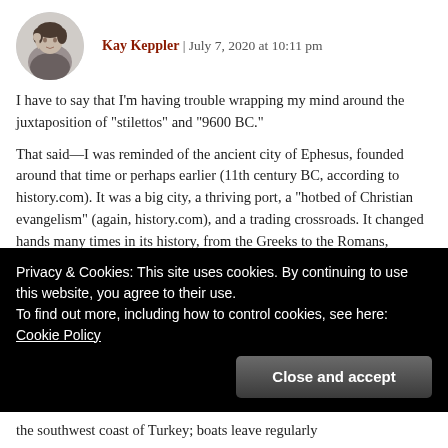[Figure (illustration): Circular avatar photo of a person in black and white]
Kay Keppler | July 7, 2020 at 10:11 pm
I have to say that I'm having trouble wrapping my mind around the juxtaposition of "stilettos" and "9600 BC."
That said—I was reminded of the ancient city of Ephesus, founded around that time or perhaps earlier (11th century BC, according to history.com). It was a big city, a thriving port, a "hotbed of Christian evangelism" (again, history.com), and a trading crossroads. It changed hands many times in its history, from the Greeks to the Romans, Persians, Egyptians, and Lydians (think King Croesus), among others.
Privacy & Cookies: This site uses cookies. By continuing to use this website, you agree to their use.
To find out more, including how to control cookies, see here: Cookie Policy
the southwest coast of Turkey; boats leave regularly